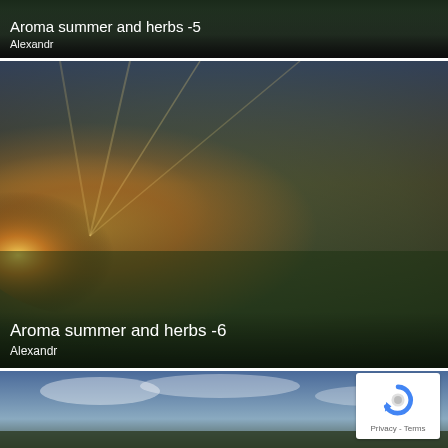[Figure (photo): Partial view of photo card with dark green/grass background — top of Aroma summer and herbs -5 card]
Aroma summer and herbs -5
Alexandr
[Figure (photo): Landscape photo with dramatic sunset sky, golden light rays, green meadow, trees, and small pond]
Aroma summer and herbs -6
Alexandr
[Figure (photo): Landscape photo with blue sky, dramatic clouds and green trees at bottom — partial view]